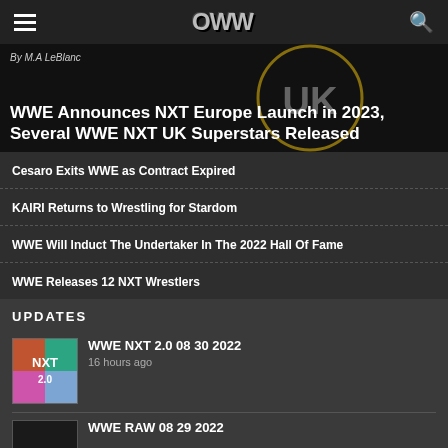OWW navigation header
WWE Announces NXT Europe Launch in 2023, Several WWE NXT UK Superstars Released
By M.A LeBlanc
Cesaro Exits WWE as Contract Expired
KAIRI Returns to Wrestling for Stardom
WWE Will Induct The Undertaker In The 2022 Hall Of Fame
WWE Releases 12 NXT Wrestlers
UPDATES
WWE NXT 2.0 08 30 2022
16 hours ago
WWE RAW 08 29 2022